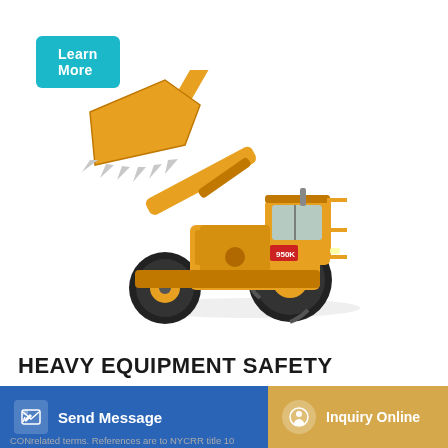Learn More
[Figure (photo): Yellow wheel loader / front-end loader construction machine with bucket raised, shown in a 3/4 front view on white background]
HEAVY EQUIPMENT SAFETY TRAINING HANDBOOK
Send Message
Inquiry Online
certifica
CONrelated terms. References are to NYCRR title 10